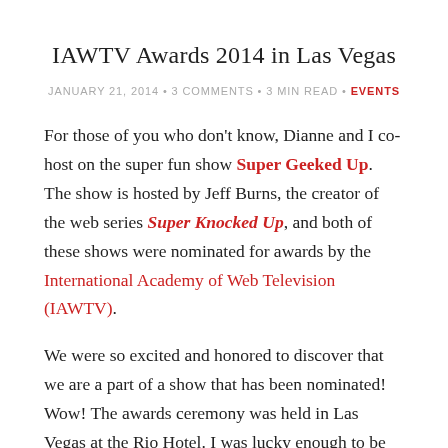IAWTV Awards 2014 in Las Vegas
JANUARY 21, 2014 • 3 COMMENTS • 3 MIN READ • EVENTS
For those of you who don't know, Dianne and I co-host on the super fun show Super Geeked Up. The show is hosted by Jeff Burns, the creator of the web series Super Knocked Up, and both of these shows were nominated for awards by the International Academy of Web Television (IAWTV).
We were so excited and honored to discover that we are a part of a show that has been nominated! Wow! The awards ceremony was held in Las Vegas at the Rio Hotel. I was lucky enough to be